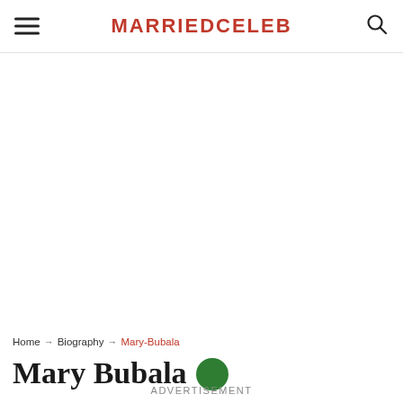MARRIEDCELEB
Home → Biography → Mary-Bubala
Mary Bubala
ADVERTISEMENT